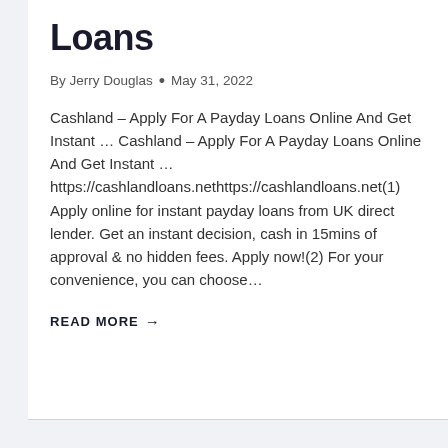Loans
By Jerry Douglas • May 31, 2022
Cashland – Apply For A Payday Loans Online And Get Instant … Cashland – Apply For A Payday Loans Online And Get Instant … https://cashlandloans.nethttps://cashlandloans.net(1) Apply online for instant payday loans from UK direct lender. Get an instant decision, cash in 15mins of approval & no hidden fees. Apply now!(2) For your convenience, you can choose…
READ MORE →